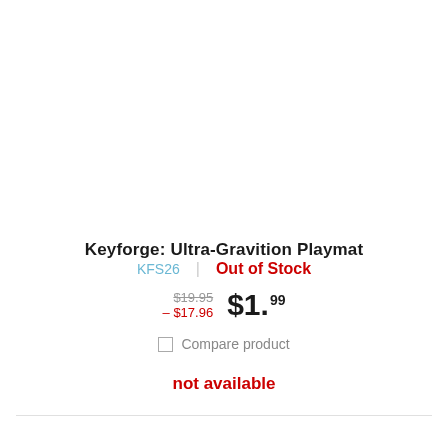Keyforge: Ultra-Gravition Playmat
KFS26 | Out of Stock
$19.95 - $17.96  $1.99
Compare product
not available